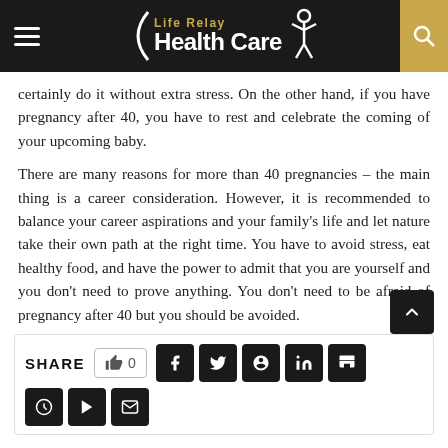Life Relay Health Care
certainly do it without extra stress. On the other hand, if you have pregnancy after 40, you have to rest and celebrate the coming of your upcoming baby.
There are many reasons for more than 40 pregnancies – the main thing is a career consideration. However, it is recommended to balance your career aspirations and your family's life and let nature take their own path at the right time. You have to avoid stress, eat healthy food, and have the power to admit that you are yourself and you don't need to prove anything. You don't need to be afraid of pregnancy after 40 but you should be avoided.
SHARE 0 [social share buttons: Facebook, Twitter, Pinterest, LinkedIn, Tumblr, and more]